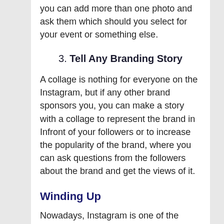you can add more than one photo and ask them which should you select for your event or something else.
3. Tell Any Branding Story
A collage is nothing for everyone on the Instagram, but if any other brand sponsors you, you can make a story with a collage to represent the brand in Infront of your followers or to increase the popularity of the brand, where you can ask questions from the followers about the brand and get the views of it.
Winding Up
Nowadays, Instagram is one of the